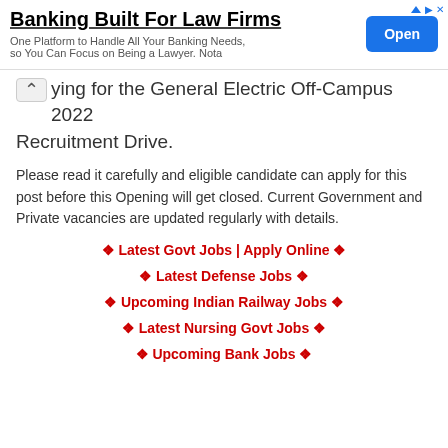[Figure (other): Advertisement banner for 'Banking Built For Law Firms' with an Open button on the right]
ying for the General Electric Off-Campus 2022 Recruitment Drive.
Please read it carefully and eligible candidate can apply for this post before this Opening will get closed. Current Government and Private vacancies are updated regularly with details.
✪ Latest Govt Jobs | Apply Online ✪
✪ Latest Defense Jobs ✪
✪ Upcoming Indian Railway Jobs ✪
✪ Latest Nursing Govt Jobs ✪
✪ Upcoming Bank Jobs ✪